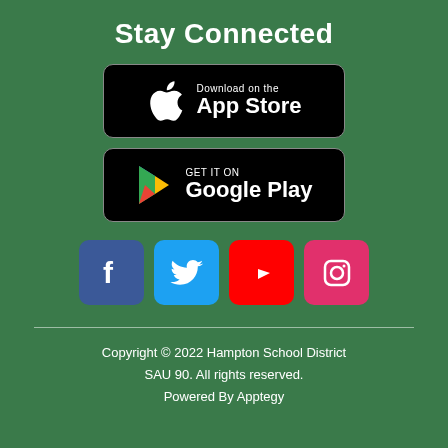Stay Connected
[Figure (logo): Download on the App Store badge (black rounded rectangle with Apple logo)]
[Figure (logo): Get it on Google Play badge (black rounded rectangle with Google Play triangle logo)]
[Figure (infographic): Social media icons: Facebook (blue), Twitter (light blue), YouTube (red), Instagram (pink/magenta)]
Copyright © 2022 Hampton School District SAU 90. All rights reserved. Powered By Apptegy